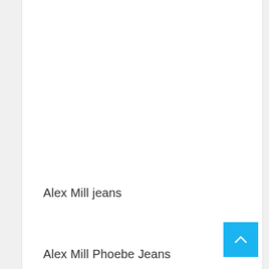Alex Mill jeans
Alex Mill Phoebe Jeans